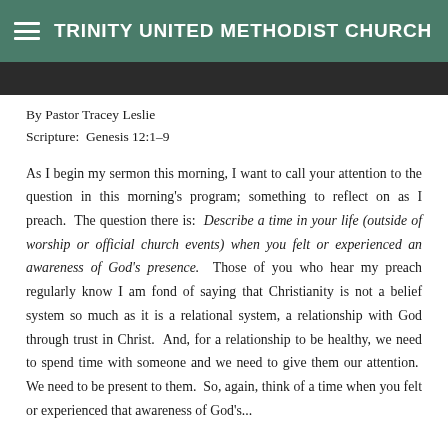TRINITY UNITED METHODIST CHURCH
By Pastor Tracey Leslie
Scripture:  Genesis 12:1–9
As I begin my sermon this morning, I want to call your attention to the question in this morning's program; something to reflect on as I preach.  The question there is:  Describe a time in your life (outside of worship or official church events) when you felt or experienced an awareness of God's presence.  Those of you who hear my preach regularly know I am fond of saying that Christianity is not a belief system so much as it is a relational system, a relationship with God through trust in Christ.  And, for a relationship to be healthy, we need to spend time with someone and we need to give them our attention.  We need to be present to them.  So, again, think of a time when you felt or experienced that awareness of God's...